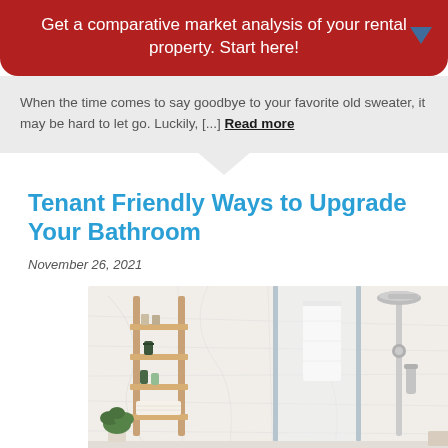Get a comparative market analysis of your rental property. Start here!
When the time comes to say goodbye to your favorite old sweater, it may be hard to let go. Luckily, [...] Read more
Tenant Friendly Ways to Upgrade Your Bathroom
November 26, 2021
[Figure (photo): Modern bathroom interior with a marble-tiled shower, glass panel, chrome rain shower head, handheld shower, a white towel hanging, and a wooden ladder shelf with toiletries and a small plant]